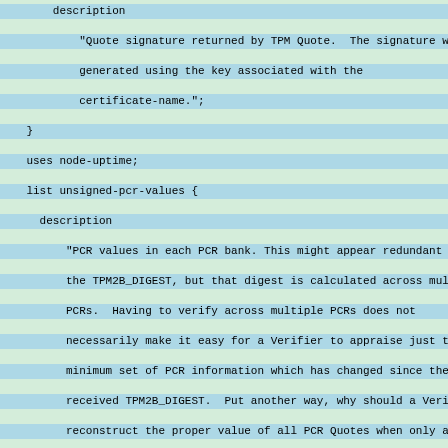YANG schema code snippet showing description fields, list definitions for unsigned-pcr-values and pcr-values, with leaf definitions for pcr-index and pcr-value.